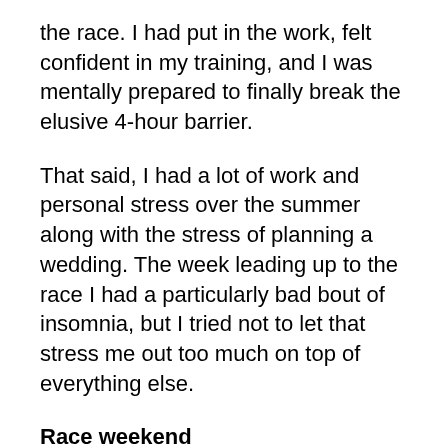the race. I had put in the work, felt confident in my training, and I was mentally prepared to finally break the elusive 4-hour barrier.
That said, I had a lot of work and personal stress over the summer along with the stress of planning a wedding. The week leading up to the race I had a particularly bad bout of insomnia, but I tried not to let that stress me out too much on top of everything else.
Race weekend
JP and I arrived in Chicago on Friday afternoon. Thanks to the air travel, I was rocking a massive migraine by the time we landed. We hit the expo, and my blood sugar plummeted since it was mid-afternoon and I had only eaten breakfast and one snack all day. No one likes a hangry Martha, and this Martha was very hangry! We had a late lunch, chilled